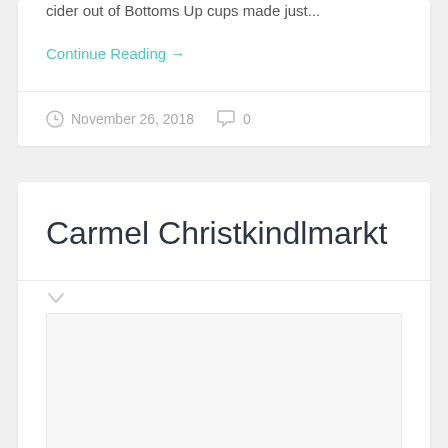cider out of Bottoms Up cups made just...
Continue Reading →
November 26, 2018   0
Carmel Christkindlmarkt